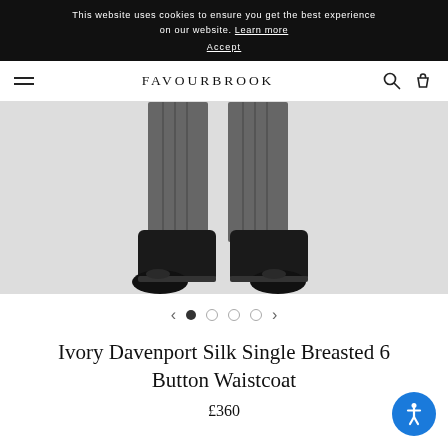This website uses cookies to ensure you get the best experience on our website. Learn more
Accept
FAVOURBROOK
[Figure (photo): Close-up photo of a person wearing grey striped trousers and black leather shoes/boots, shown from approximately the knees down, against a light grey background.]
Ivory Davenport Silk Single Breasted 6 Button Waistcoat
£360